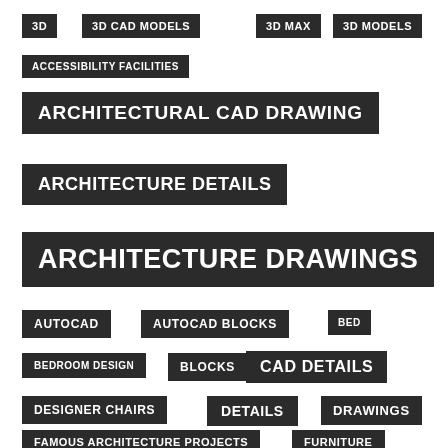3D
3D CAD MODELS
3D MAX
3D MODELS
ACCESSIBILITY FACILITIES
ARCHITECTURAL CAD DRAWING
ARCHITECTURE DETAILS
ARCHITECTURE DRAWINGS
AUTOCAD
AUTOCAD BLOCKS
BED
BEDROOM DESIGN
BLOCKS
CAD DETAILS
DESIGNER CHAIRS
DETAILS
DRAWINGS
FAMOUS ARCHITECTURE PROJECTS
FURNITURE